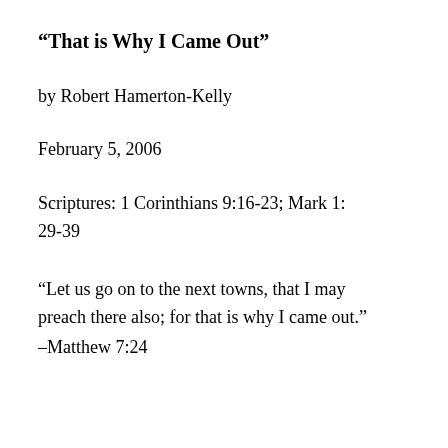“That is Why I Came Out”
by Robert Hamerton-Kelly
February 5, 2006
Scriptures: 1 Corinthians 9:16-23; Mark 1:29-39
“Let us go on to the next towns, that I may preach there also; for that is why I came out.” –Matthew 7:24